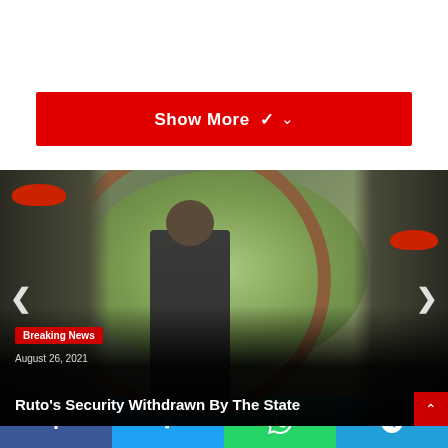Show More ⌄
[Figure (photo): Photo of a man in suit flanked by soldiers in military camouflage and red berets, in front of a circular framed mirror with greenery in the background.]
Breaking News
August 26, 2021
Ruto's Security Withdrawn By The State
Facebook | Twitter | WhatsApp | Telegram share buttons